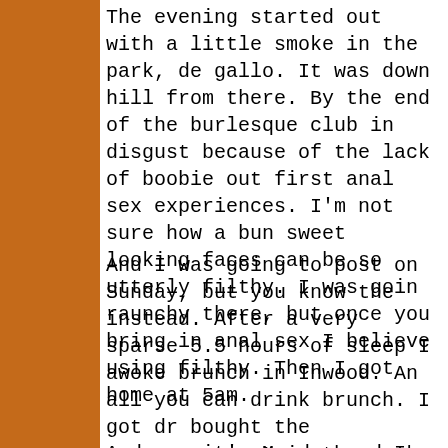The evening started out with a little smoke in the park, de gallo. It was down hill from there. By the end of the burlesque club in disgust because of the lack of boobie out first anal sex experiences. I'm not sure how a bun sweet looking faces can be so utterly filthy. I was goin raunchy there, but once you bring in anal sex I believe using filthy. Then I got home at 5am.
And I was going to post on Sunday, but you know the instead. After a very sparse 5.5 hours of sleep I awoke brunch in Inwood. An all you can drink brunch. I got dr bought the newspaper, sat in the park and smoked (o smokers smoked) and ate ice cream. It was so fun.
And now it's Monday and I plan on staying sober for a Below are some pictures,courtesy of resident photogra Sunday.
[Figure (photo): Indoor photo showing two panels divided by a vertical divider; left panel shows a dimly lit room with framed artwork on a green wall; right panel shows candles and dark interior]